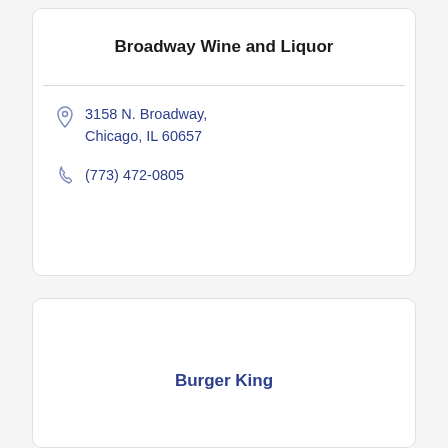Broadway Wine and Liquor
3158 N. Broadway, Chicago, IL 60657
(773) 472-0805
Burger King